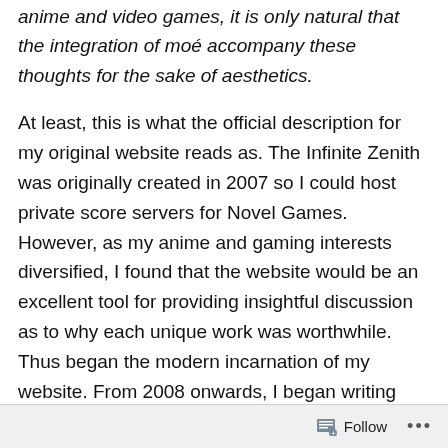anime and video games, it is only natural that the integration of moé accompany these thoughts for the sake of aesthetics.
At least, this is what the official description for my original website reads as. The Infinite Zenith was originally created in 2007 so I could host private score servers for Novel Games. However, as my anime and gaming interests diversified, I found that the website would be an excellent tool for providing insightful discussion as to why each unique work was worthwhile. Thus began the modern incarnation of my website. From 2008 onwards, I began writing reviews and experimenting with the website's layout, eventually settling on the modern design. However, the website was inflexible and focussed on a fixed amount of material. With other materials out there meritorious
Follow ···